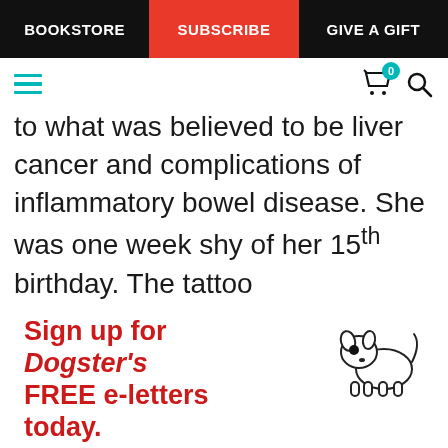BOOKSTORE | SUBSCRIBE | GIVE A GIFT
to what was believed to be liver cancer and complications of inflammatory bowel disease. She was one week shy of her 15th birthday. The tattoo
[Figure (infographic): Sign up for Dogster's FREE e-letters today. Get health advice, nutrition information and training tips from our experts. It's FREE! Email input field and YES! SIGN ME UP button.]